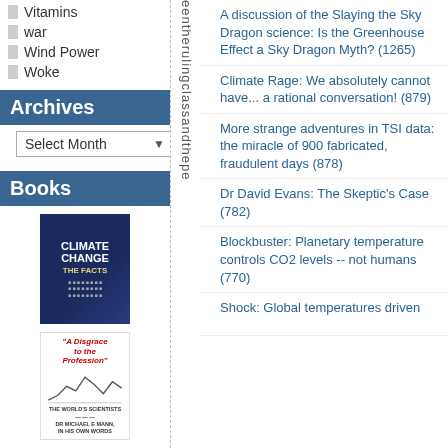Vitamins
war
Wind Power
Woke
Archives
Select Month
Books
[Figure (photo): Book cover: Climate Change The Facts]
[Figure (photo): Book cover: A Disgrace to the Profession]
eentherulingclassandthepe
A discussion of the Slaying the Sky Dragon science: Is the Greenhouse Effect a Sky Dragon Myth? (1265)
Climate Rage: We absolutely cannot have... a rational conversation! (879)
More strange adventures in TSI data: the miracle of 900 fabricated, fraudulent days (878)
Dr David Evans: The Skeptic's Case (782)
Blockbuster: Planetary temperature controls CO2 levels -- not humans (770)
Shock: Global temperatures driven